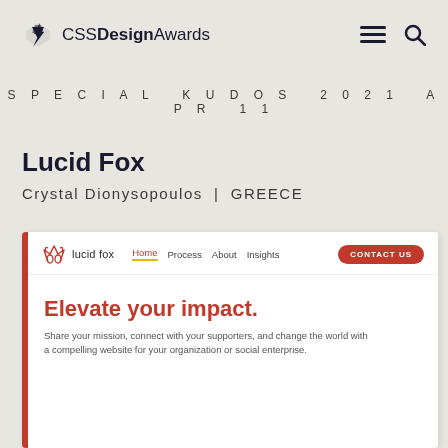CSS Design Awards — navigation header with logo, hamburger menu and search icons
SPECIAL KUDOS 2021 APR 11
Lucid Fox
Crystal Dionysopoulos  |  GREECE
[Figure (screenshot): Screenshot of the Lucid Fox website homepage showing its navigation bar with logo, menu links (Home, Process, About, Insights) and a red CONTACT US button, followed by the hero section with the heading 'Elevate your impact.' and subtext 'Share your mission, connect with your supporters, and change the world with a compelling website for your organization or social enterprise.']